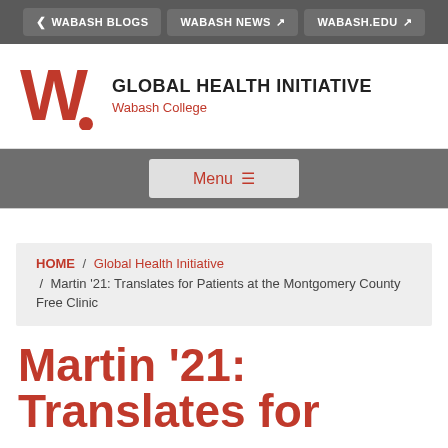< WABASH BLOGS   WABASH NEWS   WABASH.EDU
[Figure (logo): Wabash College W logo in red]
GLOBAL HEALTH INITIATIVE
Wabash College
Menu ≡
HOME / Global Health Initiative / Martin '21: Translates for Patients at the Montgomery County Free Clinic
Martin '21: Translates for